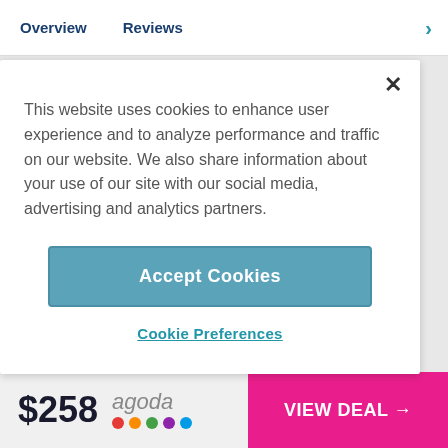Overview   Reviews
This website uses cookies to enhance user experience and to analyze performance and traffic on our website. We also share information about your use of our site with our social media, advertising and analytics partners.
Accept Cookies
Cookie Preferences
$258  agoda  VIEW DEAL →